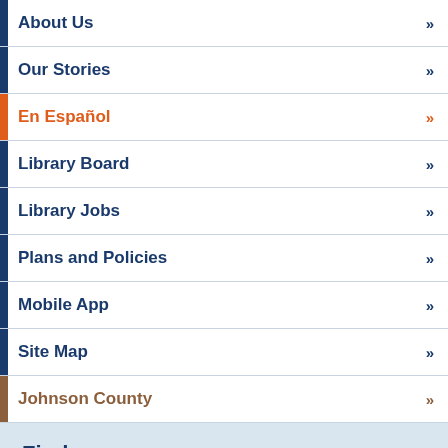About Us
Our Stories
En Español
Library Board
Library Jobs
Plans and Policies
Mobile App
Site Map
Johnson County
Find us on...
[Figure (infographic): Social media icons: Facebook, Twitter, YouTube, Instagram, Headphones/Audio]